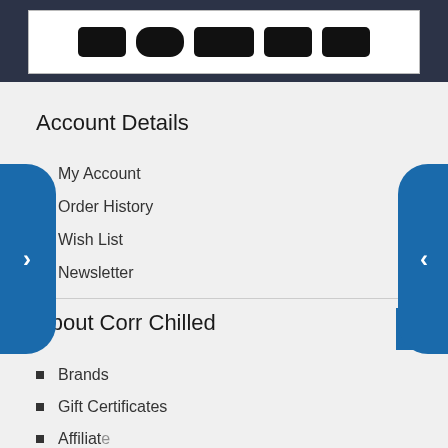[Figure (other): Dark navy header bar with payment method icons (credit card logos) displayed in a white box]
Account Details
My Account
Order History
Wish List
Newsletter
About Corr Chilled
Brands
Gift Certificates
Affiliate